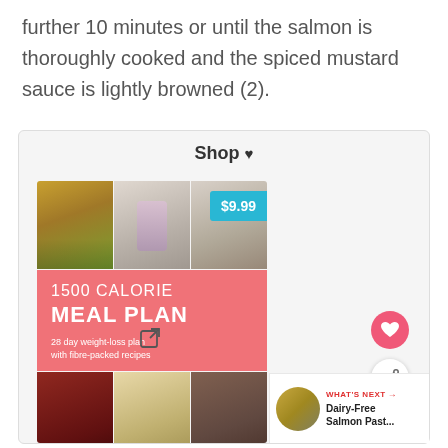further 10 minutes or until the salmon is thoroughly cooked and the spiced mustard sauce is lightly browned (2).
Shop ♥
[Figure (photo): 1500 Calorie Meal Plan product image showing food photos collage with pink banner, priced at $9.99. 28 day weight-loss plan with fibre-packed recipes.]
[Figure (photo): What's Next thumbnail: Dairy-Free Salmon Pasta...]